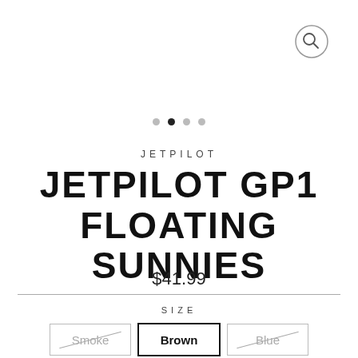[Figure (other): Search magnifying glass icon in a circle, top right corner]
[Figure (other): Image carousel dot indicators: four dots, second dot is filled/active]
JETPILOT
JETPILOT GP1 FLOATING SUNNIES
$41.99
SIZE
Smoke  Brown  Blue